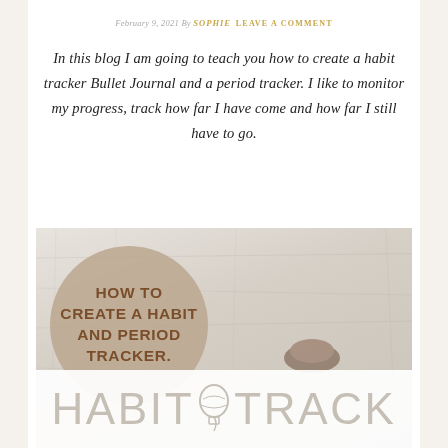February 9, 2021 By SOPHIE  LEAVE A COMMENT
In this blog I am going to teach you how to create a habit tracker Bullet Journal and a period tracker. I like to monitor my progress, track how far I have come and how far I still have to go.
[Figure (photo): Photo of person holding a habit tracker journal/notebook, with a beige circle overlay containing the text 'HOW TO CREATE A HABIT AND PERIOD PERIOD TRACKER.' The bottom of the image shows handwritten-style text reading 'HABIT TRACK' with a hot air balloon illustration between the two words.]